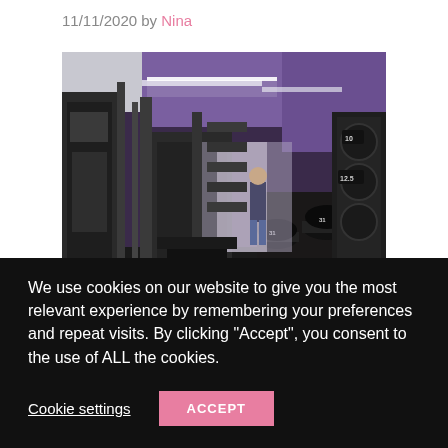11/11/2020 by Nina
[Figure (photo): Interior of a gym with purple walls, weight machines, dumbbells on racks, and a person working out in the background under fluorescent lighting.]
We use cookies on our website to give you the most relevant experience by remembering your preferences and repeat visits. By clicking "Accept", you consent to the use of ALL the cookies.
Cookie settings   ACCEPT